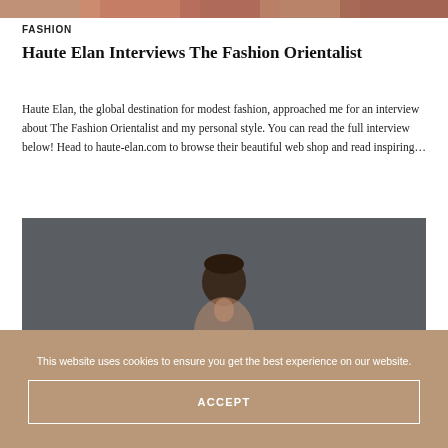[Figure (photo): Partial colorful image at the top of the page, appears to be a cropped fashion/textile photo]
FASHION
Haute Elan Interviews The Fashion Orientalist
Haute Elan, the global destination for modest fashion, approached me for an interview about The Fashion Orientalist and my personal style. You can read the full interview below! Head to haute-elan.com to browse their beautiful web shop and read inspiring…
[Figure (photo): Portrait photo of a person against a dark grey/charcoal background, partially visible]
This website uses cookies to ensure you get the best experience on our website.
ACCEPT